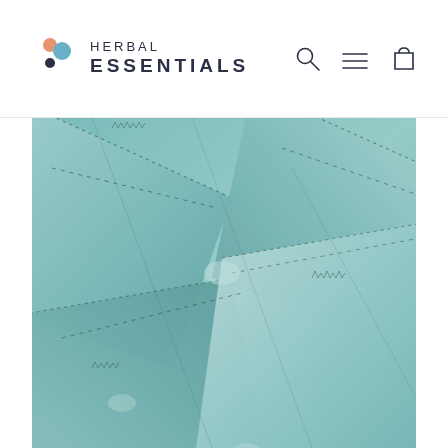[Figure (logo): Herbal Essentials logo with three decorative dots (orange, blue, dark) and text HERBAL ESSENTIALS]
[Figure (other): Navigation icons: search (magnifying glass), menu (hamburger lines), cart (shopping bag)]
[Figure (photo): Close-up macro photograph of blue-green agave or succulent plant leaves with serrated edges and spines, teal/cyan color palette]